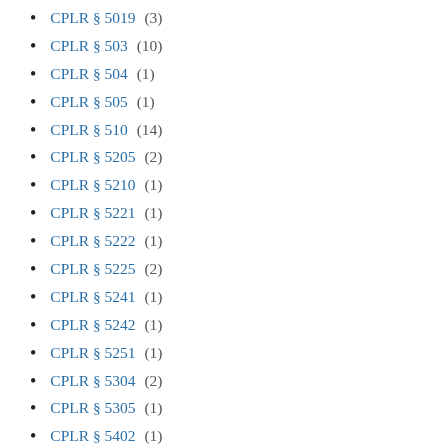CPLR § 5019 (3)
CPLR § 503 (10)
CPLR § 504 (1)
CPLR § 505 (1)
CPLR § 510 (14)
CPLR § 5205 (2)
CPLR § 5210 (1)
CPLR § 5221 (1)
CPLR § 5222 (1)
CPLR § 5225 (2)
CPLR § 5241 (1)
CPLR § 5242 (1)
CPLR § 5251 (1)
CPLR § 5304 (2)
CPLR § 5305 (1)
CPLR § 5402 (1)